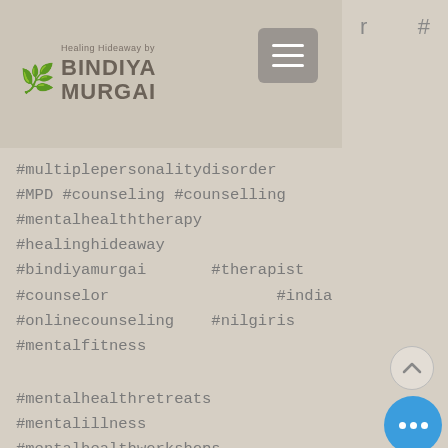[Figure (logo): Healing Hideaway by Bindiya Murgai logo with leaf/plant motif]
#multiplepersonalitydisorder #MPD #counseling #counselling #mentalhealththerapy #healinghideaway #bindiyamurgai #therapist #counselor #india #onlinecounseling #nilgiris #mentalfitness
#mentalhealthretreats #mentalillness #mentalhealthworkshops #mentalhealthproblems #mentalfitness #mentalill #mentallyill #mentalhealthindia